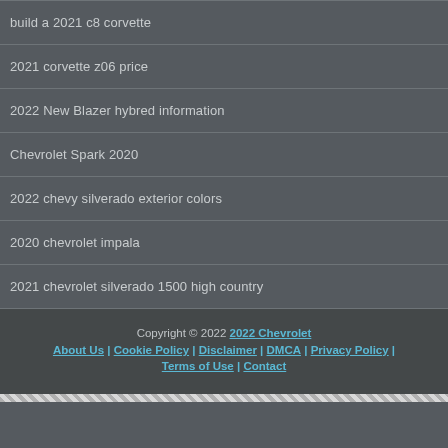build a 2021 c8 corvette
2021 corvette z06 price
2022 New Blazer hybred information
Chevrolet Spark 2020
2022 chevy silverado exterior colors
2020 chevrolet impala
2021 chevrolet silverado 1500 high country
Copyright © 2022 2022 Chevrolet | About Us | Cookie Policy | Disclaimer | DMCA | Privacy Policy | Terms of Use | Contact